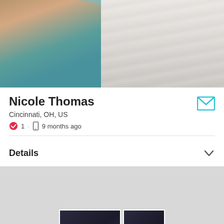[Figure (photo): Profile header photo showing a person wearing a teal/turquoise top with blonde hair, partially visible face, near a white curtain or translucent background]
Nicole Thomas
Cincinnati, OH, US
1 · 9 months ago
Details
[Figure (photo): Two small dark thumbnail photos shown at the bottom of the page in a gray section]